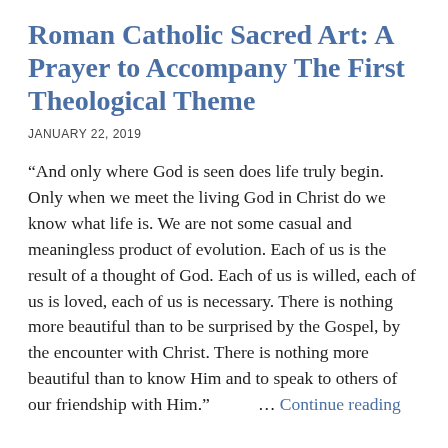Roman Catholic Sacred Art: A Prayer to Accompany The First Theological Theme
JANUARY 22, 2019
“And only where God is seen does life truly begin. Only when we meet the living God in Christ do we know what life is. We are not some casual and meaningless product of evolution. Each of us is the result of a thought of God. Each of us is willed, each of us is loved, each of us is necessary. There is nothing more beautiful than to be surprised by the Gospel, by the encounter with Christ. There is nothing more beautiful than to know Him and to speak to others of our friendship with Him.” … Continue reading